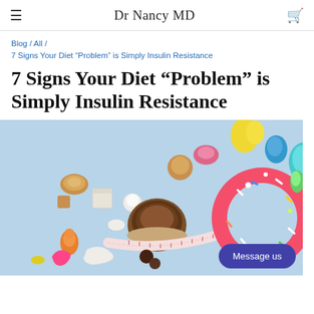Dr Nancy MD
Blog / All / 7 Signs Your Diet “Problem” is Simply Insulin Resistance
7 Signs Your Diet “Problem” is Simply Insulin Resistance
[Figure (photo): Overhead photo on light blue background showing assorted candies, gummies, a chocolate tart, a pink frosted donut with sprinkles, a measuring tape, sugar cubes, and other sweets.]